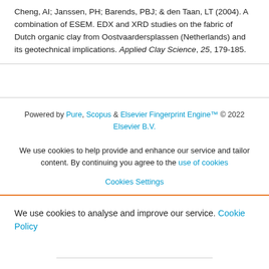Cheng, AI; Janssen, PH; Barends, PBJ; & den Taan, LT (2004). A combination of ESEM. EDX and XRD studies on the fabric of Dutch organic clay from Oostvaardersplassen (Netherlands) and its geotechnical implications. Applied Clay Science, 25, 179-185.
Powered by Pure, Scopus & Elsevier Fingerprint Engine™ © 2022 Elsevier B.V.
We use cookies to help provide and enhance our service and tailor content. By continuing you agree to the use of cookies
Cookies Settings
We use cookies to analyse and improve our service. Cookie Policy